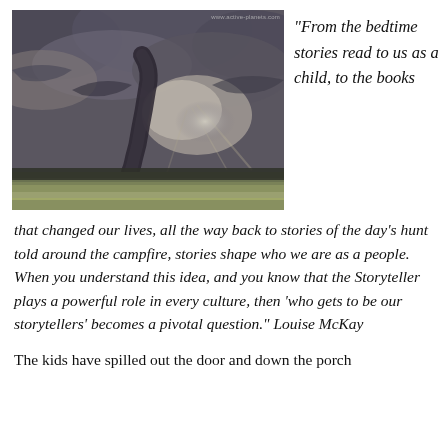[Figure (photo): Storm photo showing a dramatic tornado or funnel cloud forming beneath dark storm clouds over a flat green field landscape]
“From the bedtime stories read to us as a child, to the books that changed our lives, all the way back to stories of the day’s hunt told around the campfire, stories shape who we are as a people. When you understand this idea, and you know that the Storyteller plays a powerful role in every culture, then ‘who gets to be our storytellers’ becomes a pivotal question.” Louise McKay
The kids have spilled out the door and down the porch